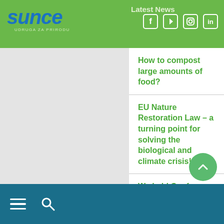sunce — Latest News
How to compost large amounts of food?
EU Nature Restoration Law – a turning point for solving the biological and climate crisis!
We held Conference on reducing the impact of anchoring on seagrasses
Eco Life Lastovo action
Let's connect the city with the 11th Split biking tour
Results of marine litter
Navigation menu and search